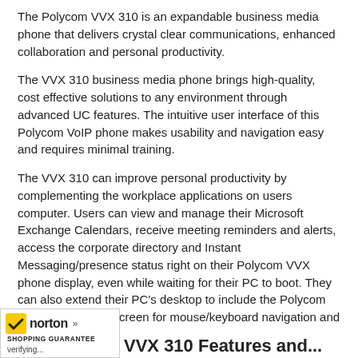The Polycom VVX 310 is an expandable business media phone that delivers crystal clear communications, enhanced collaboration and personal productivity.
The VVX 310 business media phone brings high-quality, cost effective solutions to any environment through advanced UC features. The intuitive user interface of this Polycom VoIP phone makes usability and navigation easy and requires minimal training.
The VVX 310 can improve personal productivity by complementing the workplace applications on users computer. Users can view and manage their Microsoft Exchange Calendars, receive meeting reminders and alerts, access the corporate directory and Instant Messaging/presence status right on their Polycom VVX phone display, even while waiting for their PC to boot. They can also extend their PC's desktop to include the Polycom VVX 310 phone's screen for mouse/keyboard navigation and interaction.
The VVX 310 VoIP phone is easy to deploy and simple to manage. Using an enterprise grade, web-based, configuration method allows administrators to easily provision and maintain even a small number throughout the entire organization.
[Figure (logo): Norton Shopping Guarantee badge with checkmark, text 'norton', 'SHOPPING GUARANTEE', and 'verifying...']
VVX 310 Features and...